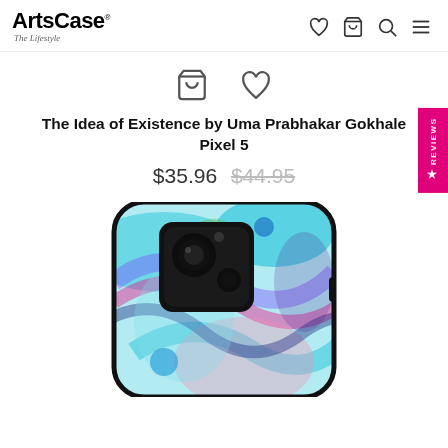ArtsCase® The Lifestyle
[Figure (logo): ArtsCase logo with tagline 'The Lifestyle']
[Figure (screenshot): Product page icons: shopping bag and heart/wishlist]
The Idea of Existence by Uma Prabhakar Gokhale Pixel 5
$35.96 $44.95
[Figure (photo): Pixel 5 phone case with colorful marble swirl artwork in blue, pink, purple, teal, and green colors]
[Figure (other): REVIEWS vertical tab on right side in pink/magenta]